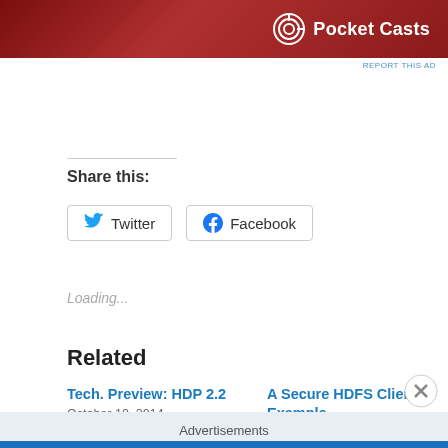[Figure (logo): Pocket Casts advertisement banner with red gradient background and Pocket Casts logo and text in white]
REPORT THIS AD
Share this:
Twitter
Facebook
Loading...
Related
Tech. Preview: HDP 2.2
October 19, 2014
In "General"
A Secure HDFS Client Example
February 14, 2016
In "Hadoop"
Advertisements